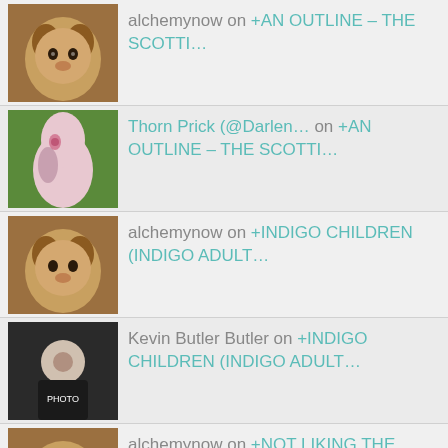alchemynow on +AN OUTLINE – THE SCOTTI…
Thorn Prick (@Darlen… on +AN OUTLINE – THE SCOTTI…
alchemynow on +INDIGO CHILDREN (INDIGO ADULT…
Kevin Butler Butler on +INDIGO CHILDREN (INDIGO ADULT…
alchemynow on +NOT LIKING THE FORCED BLOG FO…
mlhyde on +NOT LIKING THE FORCED BLOG FO…
alchemynow on +"NEUROTRIBES" = B…
guidinghope on +"NEUROTRIBES" = B…
… on +NOT LIKING HARE A CO…